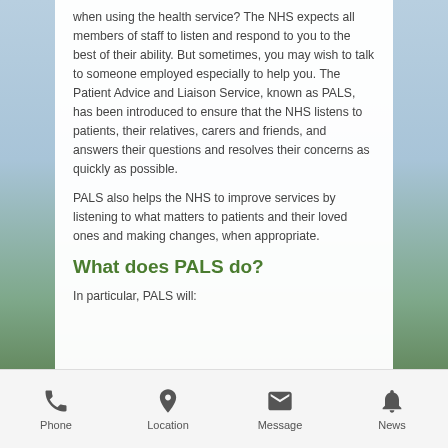when using the health service? The NHS expects all members of staff to listen and respond to you to the best of their ability. But sometimes, you may wish to talk to someone employed especially to help you. The Patient Advice and Liaison Service, known as PALS, has been introduced to ensure that the NHS listens to patients, their relatives, carers and friends, and answers their questions and resolves their concerns as quickly as possible.
PALS also helps the NHS to improve services by listening to what matters to patients and their loved ones and making changes, when appropriate.
What does PALS do?
In particular, PALS will:
Phone | Location | Message | News